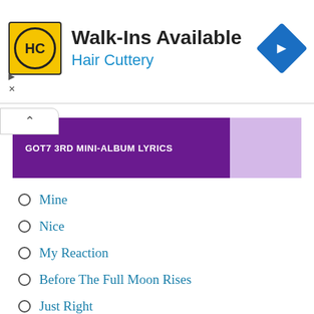[Figure (other): Hair Cuttery advertisement banner with HC logo, 'Walk-Ins Available' text, and blue diamond direction arrow icon]
GOT7 3RD MINI-ALBUM LYRICS
Mine
Nice
My Reaction
Before The Full Moon Rises
Just Right
CREDITS
Romanizations by: kpoplyrics.net